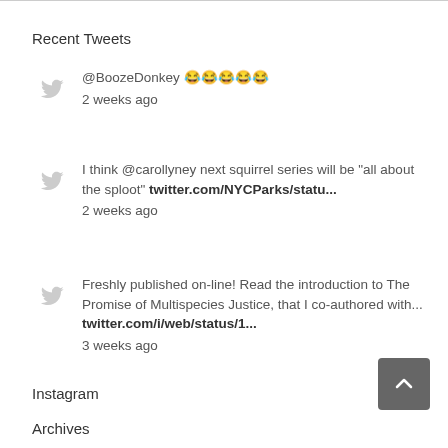Recent Tweets
@BoozeDonkey 😂😂😂😂😂
2 weeks ago
I think @carollyney next squirrel series will be "all about the sploot" twitter.com/NYCParks/statu...
2 weeks ago
Freshly published on-line! Read the introduction to The Promise of Multispecies Justice, that I co-authored with... twitter.com/i/web/status/1...
3 weeks ago
Instagram
Archives